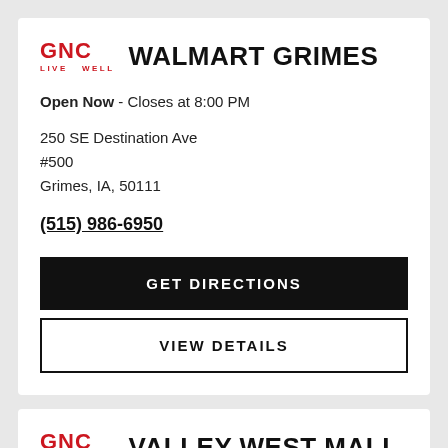GNC LIVE WELL  WALMART GRIMES
Open Now - Closes at 8:00 PM
250 SE Destination Ave
#500
Grimes, IA, 50111
(515) 986-6950
GET DIRECTIONS
VIEW DETAILS
GNC LIVE WELL  VALLEY WEST MALL